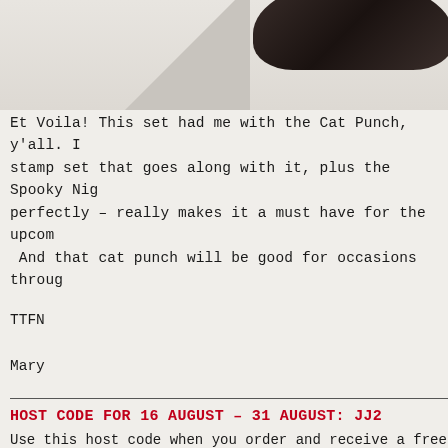[Figure (photo): Partial view of a product (appears to be a mug or punch tool) with a dark curved top edge visible at upper right, and a light grey triangular/angled shape at lower left of image area.]
Et Voila!  This set had me with the Cat Punch, y'all.  I stamp set that goes along with it, plus the Spooky Nig perfectly – really makes it a must have for the upcom  And that cat punch will be good for occasions throug
TTFN
Mary
HOST CODE FOR 16 AUGUST – 31 AUGUST: JJ2
Use this host code when you order and receive a free g over $150, please don't use this code (you'll miss out  you use it) but you'll still get the free gift. The free g